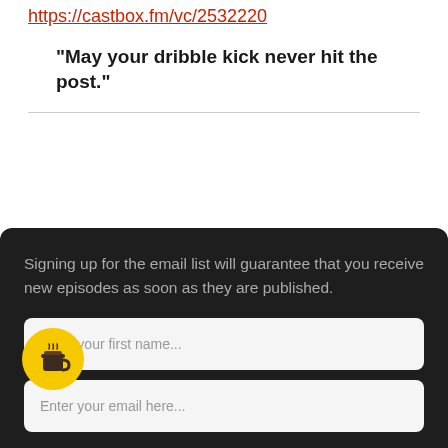https://castbox.fm/vc/2532220
"May your dribble kick never hit the post."
Signing up for the email list will guarantee that you receive new episodes as soon as they are published.
Enter your first name...
Enter your email here...